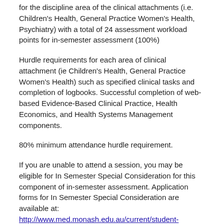for the discipline area of the clinical attachments (i.e. Children's Health, General Practice Women's Health, Psychiatry) with a total of 24 assessment workload points for in-semester assessment (100%)
Hurdle requirements for each area of clinical attachment (ie Children's Health, General Practice Women's Health) such as specified clinical tasks and completion of logbooks. Successful completion of web-based Evidence-Based Clinical Practice, Health Economics, and Health Systems Management components.
80% minimum attendance hurdle requirement.
If you are unable to attend a session, you may be eligible for In Semester Special Consideration for this component of in-semester assessment. Application forms for In Semester Special Consideration are available at: http://www.med.monash.edu.au/current/student-forms.html
Chief examiner(s)